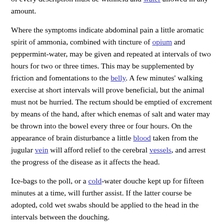the distended stomach. For this purpose a bold dose of physic is the most suitable means and should be administered at once. Food of every description must be withheld and water allowed in any amount.
Where the symptoms indicate abdominal pain a little aromatic spirit of ammonia, combined with tincture of opium and peppermint-water, may be given and repeated at intervals of two hours for two or three times. This may be supplemented by friction and fomentations to the belly. A few minutes' walking exercise at short intervals will prove beneficial, but the animal must not be hurried. The rectum should be emptied of excrement by means of the hand, after which enemas of salt and water may be thrown into the bowel every three or four hours. On the appearance of brain disturbance a little blood taken from the jugular vein will afford relief to the cerebral vessels, and arrest the progress of the disease as it affects the head.
Ice-bags to the poll, or a cold-water douche kept up for fifteen minutes at a time, will further assist. If the latter course be adopted, cold wet swabs should be applied to the head in the intervals between the douching.